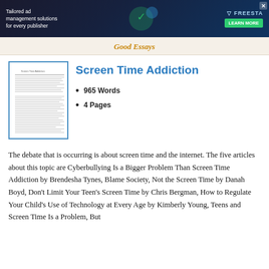[Figure (screenshot): Advertisement banner: Tailored ad management solutions for every publisher. FREESTA brand with green Learn More button.]
Good Essays
[Figure (illustration): Thumbnail preview of a multi-page essay document with text lines visible, framed by a blue border.]
Screen Time Addiction
965 Words
4 Pages
The debate that is occurring is about screen time and the internet. The five articles about this topic are Cyberbullying Is a Bigger Problem Than Screen Time Addiction by Brendesha Tynes, Blame Society, Not the Screen Time by Danah Boyd, Don't Limit Your Teen's Screen Time by Chris Bergman, How to Regulate Your Child's Use of Technology at Every Age by Kimberly Young, Teens and Screen Time Is a Problem, But